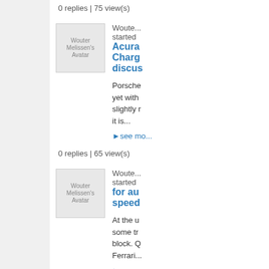0 replies | 75 view(s)
[Figure (photo): Wouter Melissen's Avatar - user profile picture placeholder]
Wouter started... Acura Charg discus
Porsche yet with slightly r it is...
see more
0 replies | 65 view(s)
[Figure (photo): Wouter Melissen's Avatar - user profile picture placeholder]
Wouter started... for au speed
At the u some tr block. Q Ferrari...
see more
0 replies | 75 view(s)